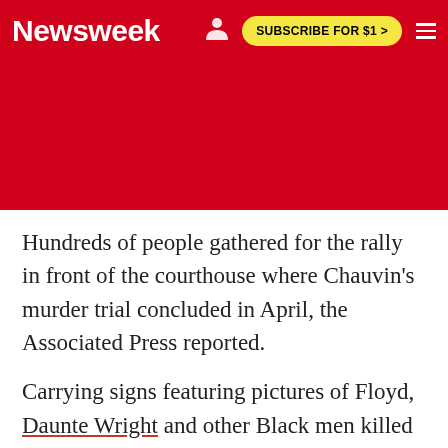Newsweek | SUBSCRIBE FOR $1 >
[Figure (other): Red advertisement/banner area below header]
Hundreds of people gathered for the rally in front of the courthouse where Chauvin's murder trial concluded in April, the Associated Press reported.
Carrying signs featuring pictures of Floyd, Daunte Wright and other Black men killed by police, attendees chanted "no justice, no